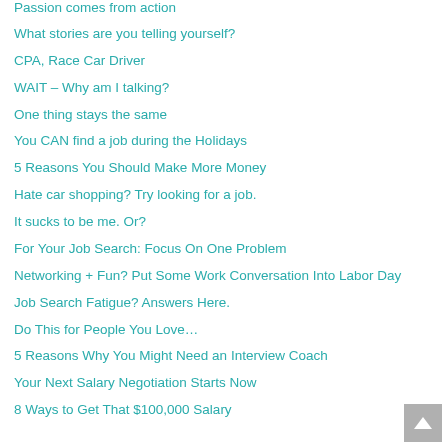Passion comes from action
What stories are you telling yourself?
CPA, Race Car Driver
WAIT – Why am I talking?
One thing stays the same
You CAN find a job during the Holidays
5 Reasons You Should Make More Money
Hate car shopping? Try looking for a job.
It sucks to be me. Or?
For Your Job Search: Focus On One Problem
Networking + Fun? Put Some Work Conversation Into Labor Day
Job Search Fatigue? Answers Here.
Do This for People You Love…
5 Reasons Why You Might Need an Interview Coach
Your Next Salary Negotiation Starts Now
8 Ways to Get That $100,000 Salary